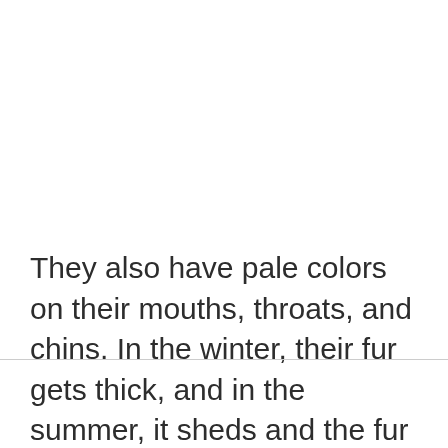They also have pale colors on their mouths, throats, and chins. In the winter, their fur gets thick, and in the summer, it sheds and the fur is thin. Corsacs enjoy food such as insects, rodents, voles, jerboas, gerbils, hamsters, and ground squirrels. Also, they are often seen